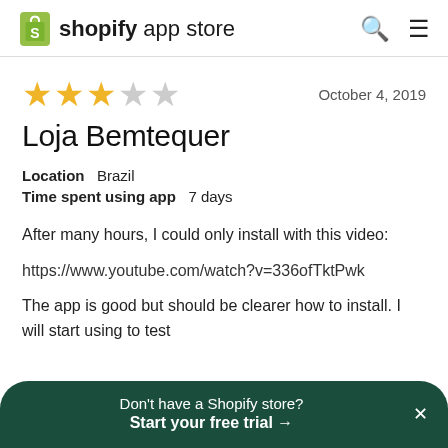shopify app store
★★★☆☆  October 4, 2019
Loja Bemtequer
Location  Brazil
Time spent using app  7 days
After many hours, I could only install with this video:

https://www.youtube.com/watch?v=336ofTktPwk

The app is good but should be clearer how to install. I will start using to test
Don't have a Shopify store? Start your free trial →